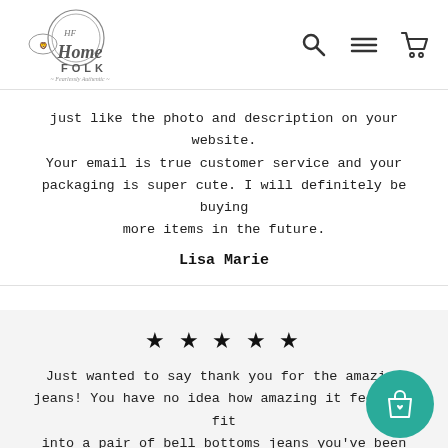Home Folk - Fearlessly Authentic [logo] [search] [menu] [cart]
just like the photo and description on your website. Your email is true customer service and your packaging is super cute. I will definitely be buying more items in the future.
Lisa Marie
★ ★ ★ ★ ★
Just wanted to say thank you for the amazing jeans! You have no idea how amazing it feels to fit into a pair of bell bottoms jeans you've been dreaming of since I've had a baby. Now I feel super sexy and confident in these. Just freaking awesome I'm so happy with my purchase! Thanks